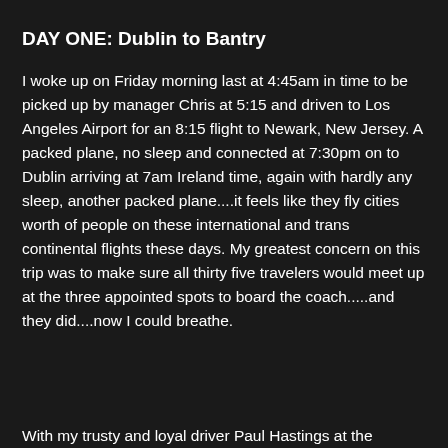DAY ONE: Dublin to Bantry
I woke up on Friday morning last at 4:45am in time to be picked up by manager Chris at 5:15 and driven to Los Angeles Airport for an 8:15 flight to Newark, New Jersey. A packed plane, no sleep and connected at 7:30pm on to Dublin arriving at 7am Ireland time, again with hardly any sleep, another packed plane....it feels like they fly cities worth of people on these international and trans continental flights these days. My greatest concern on this trip was to make sure all thirty five travelers would meet up at the three appointed spots to board the coach.....and they did....now I could breathe.
With my trusty and loyal driver Paul Hastings at the